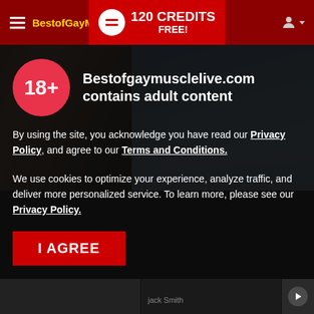BestofGayMuscleLive — 120 CREDITS FREE!
[Figure (photo): Muscular tattooed man against blue sky background]
Bestofgaymusclelive.com contains adult content
By using the site, you acknowledge you have read our Privacy Policy, and agree to our Terms and Conditions.
We use cookies to optimize your experience, analyze traffic, and deliver more personalized service. To learn more, please see our Privacy Policy.
I AGREE